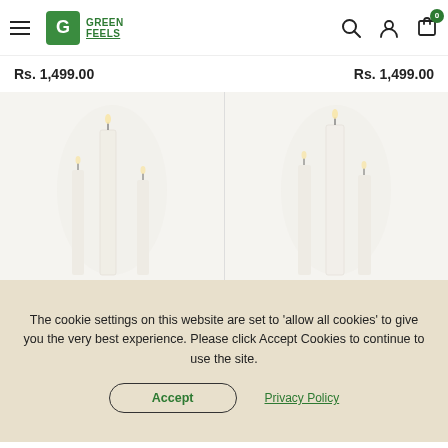Green Feels — navigation header with logo, search, account, and cart icons
Rs. 1,499.00
Rs. 1,499.00
[Figure (photo): Two product images side by side showing white candles on light background]
The cookie settings on this website are set to 'allow all cookies' to give you the very best experience. Please click Accept Cookies to continue to use the site.
Accept
Privacy Policy
Add To Cart